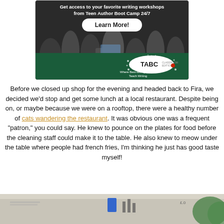[Figure (photo): TABC Classroom Edition advertisement banner showing students at writing workshop with 'Learn More!' button and TABC logo]
Before we closed up shop for the evening and headed back to Fira, we decided we'd stop and get some lunch at a local restaurant. Despite being on, or maybe because we were on a rooftop, there were a healthy number of cats wandering the restaurant. It was obvious one was a frequent “patron,” you could say. He knew to pounce on the plates for food before the cleaning staff could make it to the table. He also knew to meow under the table where people had french fries, I’m thinking he just has good taste myself!
[Figure (photo): Bottom partial photo showing a rooftop or outdoor scene]